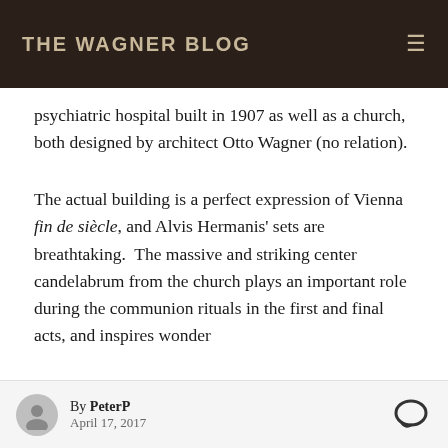THE WAGNER BLOG
psychiatric hospital built in 1907 as well as a church, both designed by architect Otto Wagner (no relation).
The actual building is a perfect expression of Vienna fin de siècle, and Alvis Hermanis' sets are breathtaking.  The massive and striking center candelabrum from the church plays an important role during the communion rituals in the first and final acts, and inspires wonder
By PeterP April 17, 2017